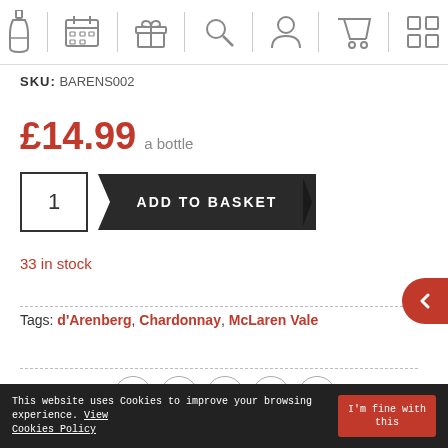Navigation bar with wine shop icons
SKU: BARENS002
£14.99 a bottle
[Figure (other): Quantity input box showing '1' and black ribbon-style ADD TO BASKET button]
33 in stock
Tags: d'Arenberg, Chardonnay, McLaren Vale
SHARE: [Facebook] [Twitter] [LinkedIn] [Pinterest] [WhatsApp]
This website uses Cookies to improve your browsing experience. View Cookies Policy  |  I'm fine with this